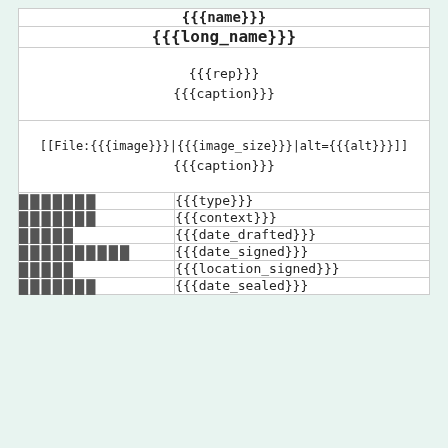| {{{name}}} |
| {{{long_name}}} |
| {{{rep}}} | {{{caption}}} |
| [[File:{{{image}}}|{{{image_size}}}|alt={{{alt}}}]] | {{{caption}}} |
| ███████ | {{{type}}} |
| ███████ | {{{context}}} |
| █████ | {{{date_drafted}}} |
| ██████████ | {{{date_signed}}} |
| █████ | {{{location_signed}}} |
| ███████ | {{{date_sealed}}} |